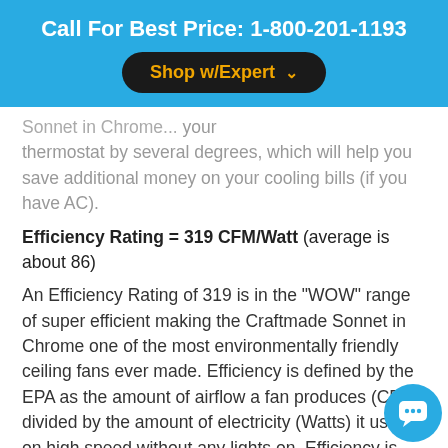Call For Best Price: 1-800-201-1193
Shop w/Expert
...thermostat by several degrees, which will help you save additional money on your cooling bills (if you have AC).
Efficiency Rating = 319 CFM/Watt (average is about 86)
An Efficiency Rating of 319 is in the "WOW" range of super efficient making the Craftmade Sonnet in Chrome one of the most environmentally friendly ceiling fans ever made. Efficiency is defined by the EPA as the amount of airflow a fan produces (CFM) divided by the amount of electricity (Watts) it uses on high speed without any lights on. Efficiency is less important than Airflow because more CFMs allow you to raise your thermostat higher...which is where you will save the most energy. Efficiency becomes more important if you expect to operate several ceiling fans